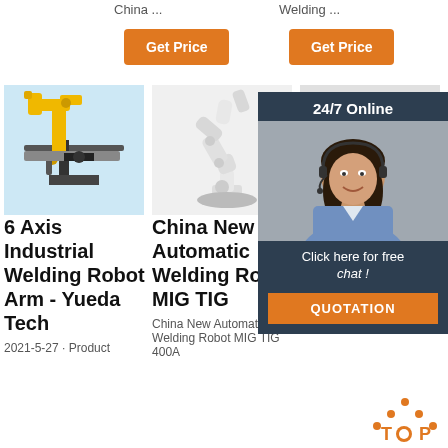China ...
Welding ...
Get Price
Get Price
[Figure (photo): Yellow industrial welding robot arm on a work platform]
[Figure (photo): White ABB industrial robot arm]
[Figure (photo): Partial view of a white industrial robot arm]
6 Axis Industrial Welding Robot Arm - Yueda Tech
China New Automatic Welding Robot MIG TIG
Feat... Prod... From... Tech Co., Ltd.,
2021-5-27 · Product
China New Automatic Welding Robot MIG TIG 400A
Hot Selling 6KG tig robotic welding arm robot 6 axis automatic
[Figure (photo): Customer service agent - woman with headset, 24/7 Online chat widget with QUOTATION button]